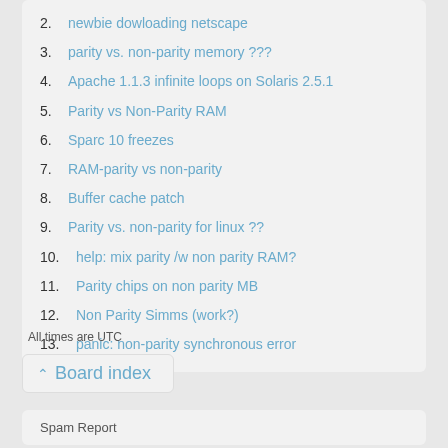2. newbie dowloading netscape
3. parity vs. non-parity memory ???
4. Apache 1.1.3 infinite loops on Solaris 2.5.1
5. Parity vs Non-Parity RAM
6. Sparc 10 freezes
7. RAM-parity vs non-parity
8. Buffer cache patch
9. Parity vs. non-parity for linux ??
10. help: mix parity /w non parity RAM?
11. Parity chips on non parity MB
12. Non Parity Simms (work?)
13. panic: non-parity synchronous error
All times are UTC
^ Board index
Spam Report